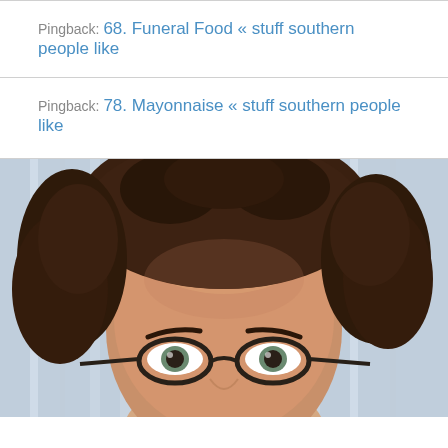Pingback: 68. Funeral Food « stuff southern people like
Pingback: 78. Mayonnaise « stuff southern people like
[Figure (photo): Close-up photo of a woman with curly dark brown hair and dark-rimmed oval glasses, looking at camera, with a light blue/white curtain background. Only the top half of her face from forehead to just below the eyes/nose bridge is visible.]